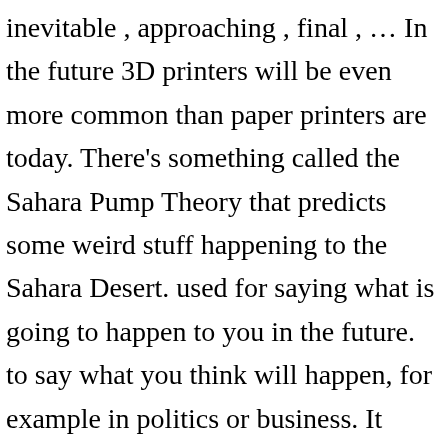inevitable , approaching , final , … In the future 3D printers will be even more common than paper printers are today. There's something called the Sahara Pump Theory that predicts some weird stuff happening to the Sahara Desert. used for saying what is going to happen to you in the future. to say what you think will happen, for example in politics or business. It will/won't happen in our lifetime. James pledged to be faithful in future. 8 synonyms of future from the Merriam-Webster Thesaurus, plus 39 related words, definitions, and antonyms. used about someone's existence or